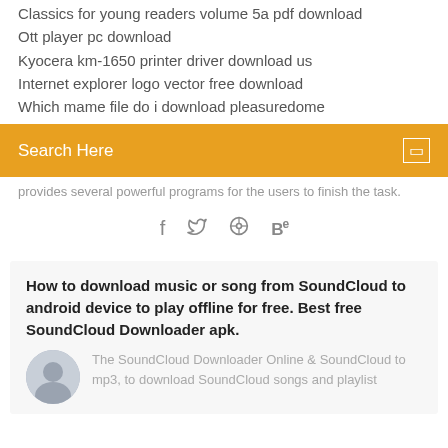Classics for young readers volume 5a pdf download
Ott player pc download
Kyocera km-1650 printer driver download us
Internet explorer logo vector free download
Which mame file do i download pleasuredome
[Figure (screenshot): Orange search bar with 'Search Here' placeholder text and a search icon]
provides several powerful programs for the users to finish the task.
[Figure (infographic): Social sharing icons: facebook, twitter, dribbble, behance]
How to download music or song from SoundCloud to android device to play offline for free. Best free SoundCloud Downloader apk.
The SoundCloud Downloader Online & SoundCloud to mp3, to download SoundCloud songs and playlist